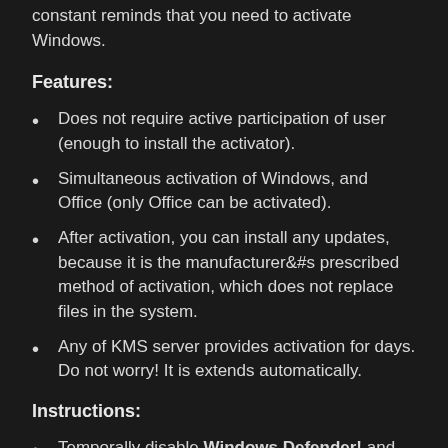constant reminds that you need to activate Windows.
Features:
Does not require active participation of user (enough to install the activator).
Simultaneous activation of Windows, and Office (only Office can be activated).
After activation, you can install any updates, because it is the manufacturer&#s prescribed method of activation, which does not replace files in the system.
Any of KMS server provides activation for days. Do not worry! It is extends automatically.
Instructions:
Temporally disable Windows Defender! and Anti-Virus, because they delete an activator.